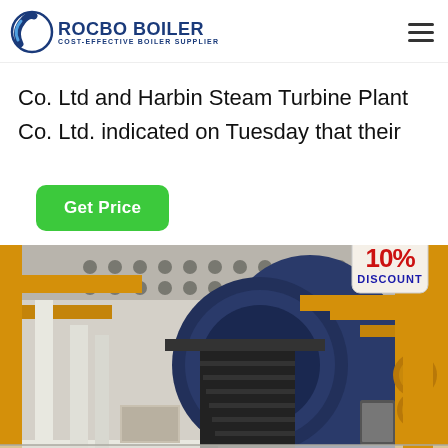ROCBO BOILER - COST-EFFECTIVE BOILER SUPPLIER
Co. Ltd and Harbin Steam Turbine Plant Co. Ltd. indicated on Tuesday that their
Get Price
[Figure (photo): Industrial boiler plant interior showing large blue cylindrical boiler with black staircase, yellow pipes and support structures, white walls with ventilation holes, and bright white floor in a large factory hall. A 10% DISCOUNT tag is overlaid in the top right corner.]